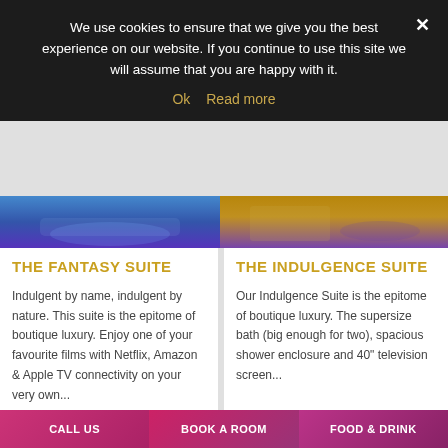We use cookies to ensure that we give you the best experience on our website. If you continue to use this site we will assume that you are happy with it.
Ok   Read more
[Figure (photo): Two hotel suite photos side by side: left shows a bathtub with blue purple lighting, right shows a bed/bath area with golden and purple lighting]
THE FANTASY SUITE
Indulgent by name, indulgent by nature. This suite is the epitome of boutique luxury. Enjoy one of your favourite films with Netflix, Amazon & Apple TV connectivity on your very own...
THE INDULGENCE SUITE
Our Indulgence Suite is the epitome of boutique luxury. The supersize bath (big enough for two), spacious shower enclosure and 40" television screen...
CALL US   BOOK A ROOM   FOOD & DRINK